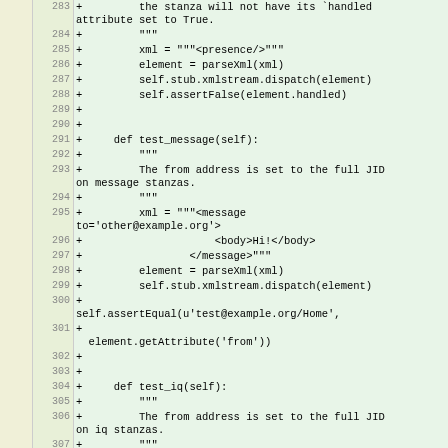| old | new | code |
| --- | --- | --- |
|  | 283 | +         the stanza will not have its `handled attribute set to True. |
|  | 284 | +         """ |
|  | 285 | +         xml = """<presence/>""" |
|  | 286 | +         element = parseXml(xml) |
|  | 287 | +         self.stub.xmlstream.dispatch(element) |
|  | 288 | +         self.assertFalse(element.handled) |
|  | 289 | + |
|  | 290 | + |
|  | 291 | +     def test_message(self): |
|  | 292 | +         """ |
|  | 293 | +         The from address is set to the full JID on message stanzas. |
|  | 294 | +         """ |
|  | 295 | +         xml = """<message to='other@example.org'> |
|  | 296 | +                     <body>Hi!</body> |
|  | 297 | +                 </message>""" |
|  | 298 | +         element = parseXml(xml) |
|  | 299 | +         self.stub.xmlstream.dispatch(element) |
|  | 300 | +         self.assertEqual(u'test@example.org/Home', |
|  | 301 | +           element.getAttribute('from')) |
|  | 302 | + |
|  | 303 | + |
|  | 304 | +     def test_iq(self): |
|  | 305 | +         """ |
|  | 306 | +         The from address is set to the full JID on iq stanzas. |
|  | 307 | +         """ |
|  | 308 | +         xml = """<iq type='get' id='g_1'> |
|  | 309 | +                     <query |